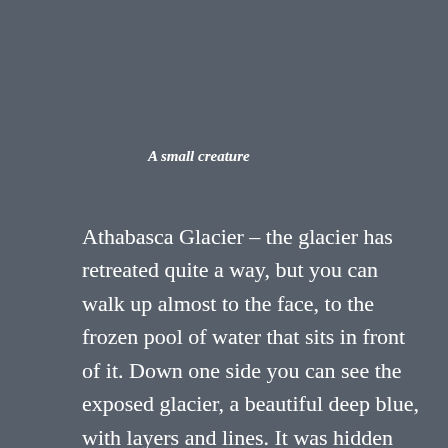A small creature
Athabasca Glacier – the glacier has retreated quite a way, but you can walk up almost to the face, to the frozen pool of water that sits in front of it.  Down one side you can see the exposed glacier, a beautiful deep blue, with layers and lines.  It was hidden away, most of the glacier is covered in snow.  On the walk up, there are lateral moraines (scree piles), tall on either side, and you climb up a terminal moraine.  Occasionally, the bedrock pokes through, and it is sleek and smooth to touch, slippery to walk on if wet, and you can see the